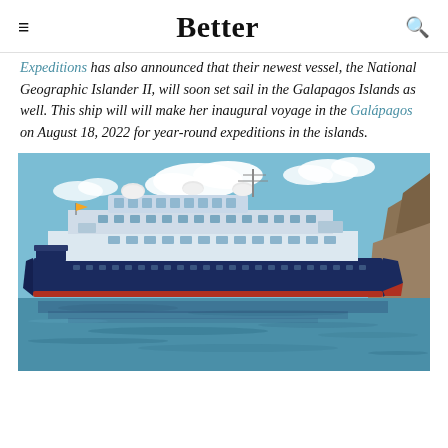≡   Better   🔍
Expeditions has also announced that their newest vessel, the National Geographic Islander II, will soon set sail in the Galapagos Islands as well. This ship will will make her inaugural voyage in the Galápagos on August 18, 2022 for year-round expeditions in the islands.
[Figure (photo): A large expedition cruise ship (National Geographic Islander II) sailing on blue water with rocky cliffs in the background and a partly cloudy sky.]